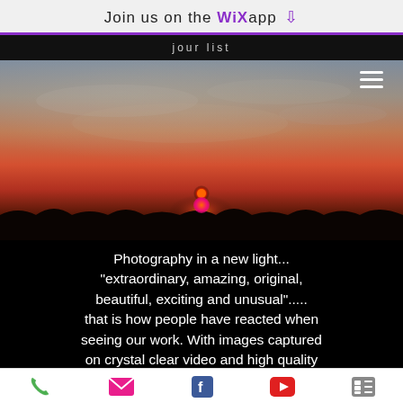Join us on the WiX app ⬇
[Figure (screenshot): Mobile website screenshot showing 'jour list' navigation bar at top in black, followed by a sunset landscape photo with orange/red sky and silhouetted treeline, hamburger menu icon in top right of photo, then black section with white text: Photography in a new light... "extraordinary, amazing, original, beautiful, exciting and unusual"..... that is how people have reacted when seeing our work. With images captured on crystal clear video and high quality]
Phone | Email | Facebook | YouTube | List